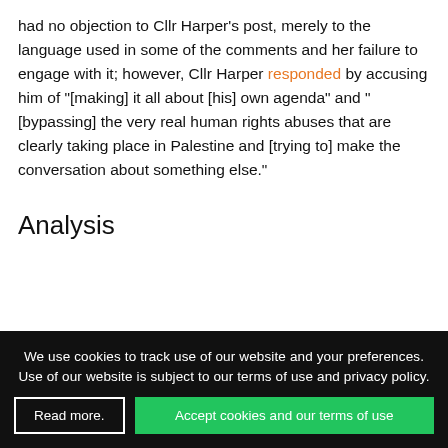had no objection to Cllr Harper's post, merely to the language used in some of the comments and her failure to engage with it; however, Cllr Harper responded by accusing him of "[making] it all about [his] own agenda" and "[bypassing] the very real human rights abuses that are clearly taking place in Palestine and [trying to] make the conversation about something else."
Analysis
We use cookies to track use of our website and your preferences. Use of our website is subject to our terms of use and privacy policy.